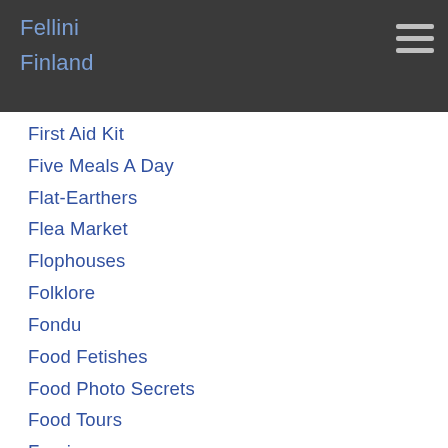Fellini
Finland
First Aid Kit
Five Meals A Day
Flat-Earthers
Flea Market
Flophouses
Folklore
Fondu
Food Fetishes
Food Photo Secrets
Food Tours
Foreign
Foreigners
Forgetfulness
Fork In The Road
Fountain
Free Wi-Fi Finder
French Bistro